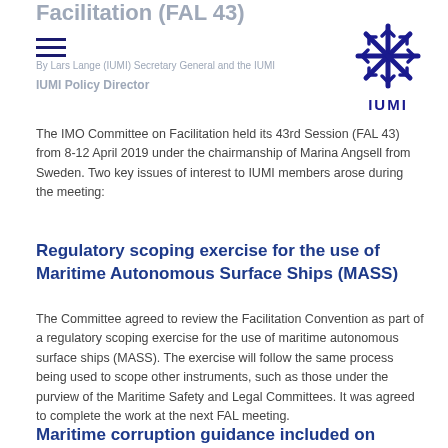Facilitation (FAL 43)
By Lars Lange (IUMI) Secretary General and the IUMI Policy Director
[Figure (logo): IUMI logo - blue snowflake/asterisk symbol with IUMI text below]
The IMO Committee on Facilitation held its 43rd Session (FAL 43) from 8-12 April 2019 under the chairmanship of Marina Angsell from Sweden. Two key issues of interest to IUMI members arose during the meeting:
Regulatory scoping exercise for the use of Maritime Autonomous Surface Ships (MASS)
The Committee agreed to review the Facilitation Convention as part of a regulatory scoping exercise for the use of maritime autonomous surface ships (MASS). The exercise will follow the same process being used to scope other instruments, such as those under the purview of the Maritime Safety and Legal Committees. It was agreed to complete the work at the next FAL meeting.
Maritime corruption guidance included on